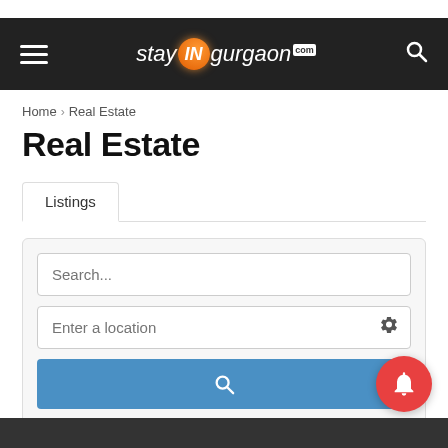stay IN gurgaon
Home › Real Estate
Real Estate
Listings
Search...
Enter a location
Filter  Sort by: Newest First ▼